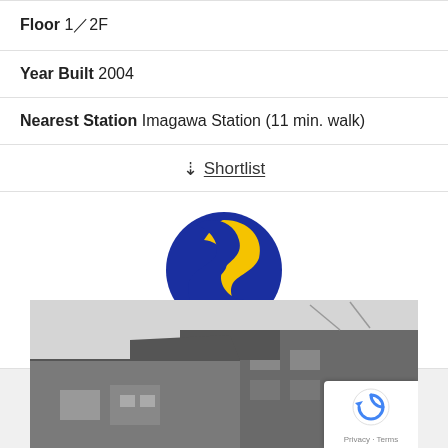Floor 1/2F
Year Built 2004
Nearest Station Imagawa Station (11 min. walk)
↓ Shortlist
[Figure (logo): Sumaino Seika Osaka Office logo — a circular S-shaped symbol in blue and yellow, with agency name below in orange]
[Figure (photo): Black and white photo of a residential building exterior, rooftop visible against overcast sky]